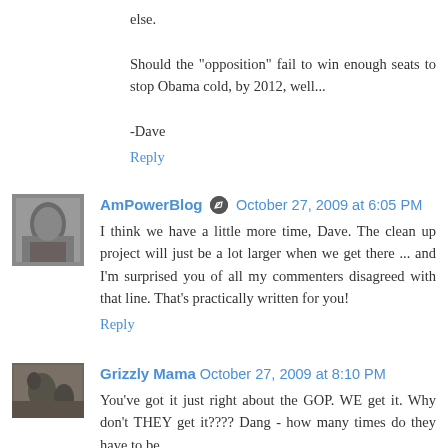else.
Should the "opposition" fail to win enough seats to stop Obama cold, by 2012, well...
-Dave
Reply
AmPowerBlog  October 27, 2009 at 6:05 PM
I think we have a little more time, Dave. The clean up project will just be a lot larger when we get there ... and I'm surprised you of all my commenters disagreed with that line. That's practically written for you!
Reply
Grizzly Mama  October 27, 2009 at 8:10 PM
You've got it just right about the GOP. WE get it. Why don't THEY get it???? Dang - how many times do they have to be...